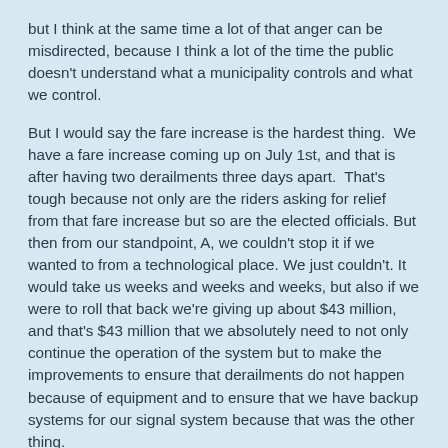but I think at the same time a lot of that anger can be misdirected, because I think a lot of the time the public doesn't understand what a municipality controls and what we control.
But I would say the fare increase is the hardest thing. We have a fare increase coming up on July 1st, and that is after having two derailments three days apart. That's tough because not only are the riders asking for relief from that fare increase but so are the elected officials. But then from our standpoint, A, we couldn't stop it if we wanted to from a technological place. We just couldn't. It would take us weeks and weeks and weeks, but also if we were to roll that back we're giving up about $43 million, and that's $43 million that we absolutely need to not only continue the operation of the system but to make the improvements to ensure that derailments do not happen because of equipment and to ensure that we have backup systems for our signal system because that was the other thing.